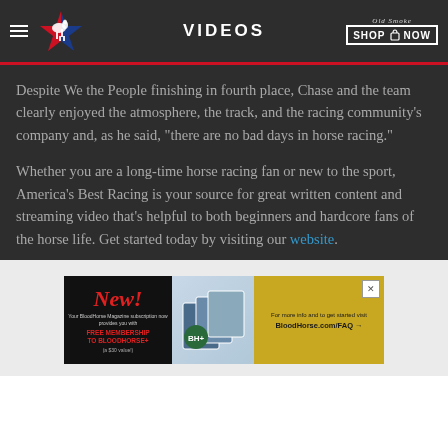VIDEOS
Despite We the People finishing in fourth place, Chase and the team clearly enjoyed the atmosphere, the track, and the racing community's company and, as he said, "there are no bad days in horse racing."
Whether you are a long-time horse racing fan or new to the sport, America's Best Racing is your source for great written content and streaming video that's helpful to both beginners and hardcore fans of the horse life. Get started today by visiting our website.
[Figure (screenshot): BloodHorse Magazine advertisement banner promoting free membership to BloodHorse+ with subscription, with New! branding on left, magazine cover images in center, and BloodHorse.com/FAQ call to action on right.]